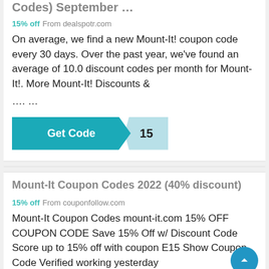Codes) September ...
15% off From dealspotr.com
On average, we find a new Mount-It! coupon code every 30 days. Over the past year, we've found an average of 10.0 discount codes per month for Mount-It!. More Mount-It! Discounts &
…. …
[Figure (other): Get Code button with '15' code label in teal color]
Mount-It Coupon Codes 2022 (40% discount)
15% off From couponfollow.com
Mount-It Coupon Codes mount-it.com 15% OFF COUPON CODE Save 15% Off w/ Discount Code Score up to 15% off with coupon E15 Show Coupon Code Verified working yesterday